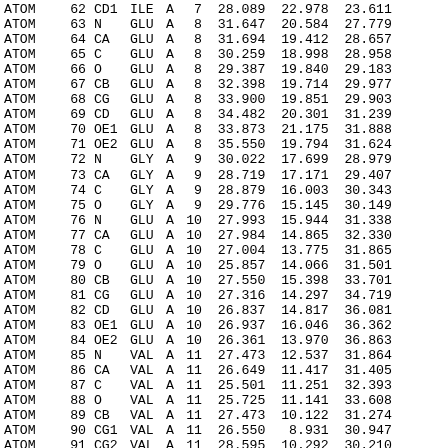| Record | Serial | Name | ResName | Chain | ResSeq | X | Y | Z |
| --- | --- | --- | --- | --- | --- | --- | --- | --- |
| ATOM | 62 | CD1 | ILE | A | 7 | 28.089 | 22.978 | 23.611 |
| ATOM | 63 | N | GLU | A | 8 | 31.647 | 20.584 | 27.779 |
| ATOM | 64 | CA | GLU | A | 8 | 31.694 | 19.412 | 28.657 |
| ATOM | 65 | C | GLU | A | 8 | 30.259 | 18.998 | 28.958 |
| ATOM | 66 | O | GLU | A | 8 | 29.387 | 19.840 | 29.183 |
| ATOM | 67 | CB | GLU | A | 8 | 32.398 | 19.714 | 29.977 |
| ATOM | 68 | CG | GLU | A | 8 | 33.900 | 19.851 | 29.903 |
| ATOM | 69 | CD | GLU | A | 8 | 34.482 | 20.301 | 31.239 |
| ATOM | 70 | OE1 | GLU | A | 8 | 33.873 | 21.175 | 31.888 |
| ATOM | 71 | OE2 | GLU | A | 8 | 35.550 | 19.794 | 31.624 |
| ATOM | 72 | N | GLY | A | 9 | 30.022 | 17.699 | 28.979 |
| ATOM | 73 | CA | GLY | A | 9 | 28.719 | 17.171 | 29.407 |
| ATOM | 74 | C | GLY | A | 9 | 28.879 | 16.003 | 30.343 |
| ATOM | 75 | O | GLY | A | 9 | 29.776 | 15.145 | 30.149 |
| ATOM | 76 | N | GLU | A | 10 | 27.993 | 15.944 | 31.338 |
| ATOM | 77 | CA | GLU | A | 10 | 27.984 | 14.865 | 32.330 |
| ATOM | 78 | C | GLU | A | 10 | 27.004 | 13.775 | 31.865 |
| ATOM | 79 | O | GLU | A | 10 | 25.857 | 14.066 | 31.501 |
| ATOM | 80 | CB | GLU | A | 10 | 27.550 | 15.398 | 33.701 |
| ATOM | 81 | CG | GLU | A | 10 | 27.316 | 14.297 | 34.719 |
| ATOM | 82 | CD | GLU | A | 10 | 26.837 | 14.817 | 36.081 |
| ATOM | 83 | OE1 | GLU | A | 10 | 26.937 | 16.046 | 36.362 |
| ATOM | 84 | OE2 | GLU | A | 10 | 26.361 | 13.970 | 36.863 |
| ATOM | 85 | N | VAL | A | 11 | 27.473 | 12.537 | 31.864 |
| ATOM | 86 | CA | VAL | A | 11 | 26.649 | 11.417 | 31.405 |
| ATOM | 87 | C | VAL | A | 11 | 25.501 | 11.251 | 32.393 |
| ATOM | 88 | O | VAL | A | 11 | 25.725 | 11.141 | 33.608 |
| ATOM | 89 | CB | VAL | A | 11 | 27.473 | 10.122 | 31.274 |
| ATOM | 90 | CG1 | VAL | A | 11 | 26.550 | 8.931 | 30.947 |
| ATOM | 91 | CG2 | VAL | A | 11 | 28.595 | 10.292 | 30.210 |